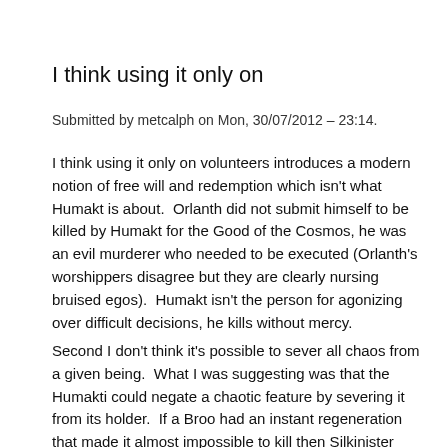I think using it only on
Submitted by metcalph on Mon, 30/07/2012 – 23:14.
I think using it only on volunteers introduces a modern notion of free will and redemption which isn't what Humakt is about.  Orlanth did not submit himself to be killed by Humakt for the Good of the Cosmos, he was an evil murderer who needed to be executed (Orlanth's worshippers disagree but they are clearly nursing bruised egos).  Humakt isn't the person for agonizing over difficult decisions, he kills without mercy.
Second I don't think it's possible to sever all chaos from a given being.  What I was suggesting was that the Humakti could negate a chaotic feature by severing it from its holder.  If a Broo had an instant regeneration that made it almost impossible to kill then Silkinister might attempt his special cut to remove that feature